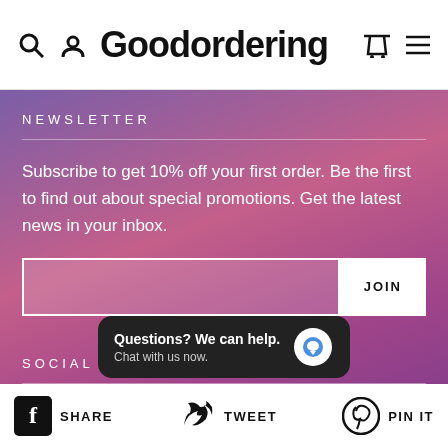Goodordering
NEWSLETTER
Subscribe to get 10% off your first order. Be the first to find out about special promotions. Get the latest news in your inbox.
SOCIAL
[Figure (screenshot): Chat support bubble overlay: 'Questions? We can help. Chat with us now.' with a blue chat icon on dark background.]
SHARE   TWEET   PIN IT